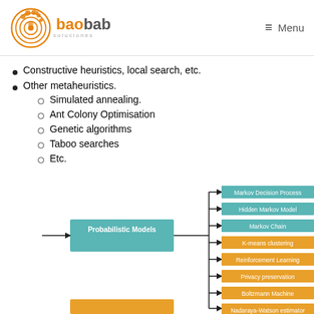baobab soluciones  ≡ Menu
Constructive heuristics, local search, etc.
Other metaheuristics.
Simulated annealing.
Ant Colony Optimisation
Genetic algorithms
Taboo searches
Etc.
[Figure (flowchart): Partial mind-map / hierarchy diagram showing 'Probabilistic Models' branching right to: Markov Decision Process, Hidden Markov Model, Markov Chain (teal boxes), K-means clustering, Reinforcement Learning, Privacy preservation, Boltzmann Machine (gold/orange boxes), and partially visible Nadaraya-Watson estimator.]